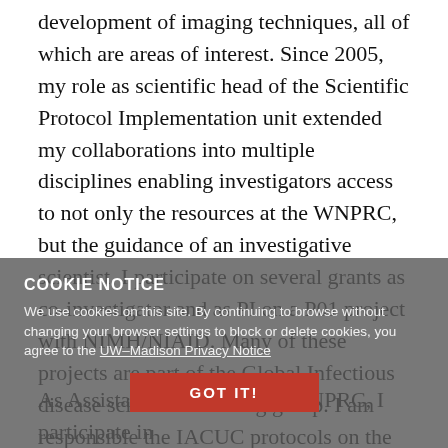development of imaging techniques, all of which are areas of interest. Since 2005, my role as scientific head of the Scientific Protocol Implementation unit extended my collaborations into multiple disciplines enabling investigators access to not only the resources at the WNPRC, but the guidance of an investigative scientist. I participate on several grants as co-investigator and as PI on a P01 project with NIMH/NIAID. Many of these projects are part of the Global Infectious disease scientific working group. I am responsible the IACUC protocols on the sub awards and contribute scientifically to all projects. In addition, I oversee the SPI unit in accomplishing research support for all investigators using NHP at the WNPRC, not only my direct collaborators.
COOKIE NOTICE
We use cookies on this site. By continuing to browse without changing your browser settings to block or delete cookies, you agree to the UW–Madison Privacy Notice
GOT IT!
As Assistant Scientist at the WNPRC, I participate in